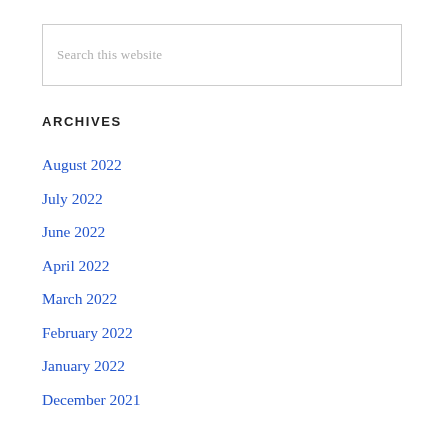Search this website
ARCHIVES
August 2022
July 2022
June 2022
April 2022
March 2022
February 2022
January 2022
December 2021